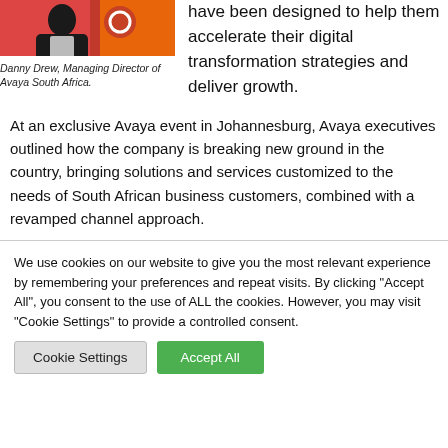[Figure (photo): Photo of Danny Drew, Managing Director of Avaya South Africa, in front of a red/orange backdrop.]
Danny Drew, Managing Director of Avaya South Africa.
have been designed to help them accelerate their digital transformation strategies and deliver growth.
At an exclusive Avaya event in Johannesburg, Avaya executives outlined how the company is breaking new ground in the country, bringing solutions and services customized to the needs of South African business customers, combined with a revamped channel approach.
We use cookies on our website to give you the most relevant experience by remembering your preferences and repeat visits. By clicking "Accept All", you consent to the use of ALL the cookies. However, you may visit "Cookie Settings" to provide a controlled consent.